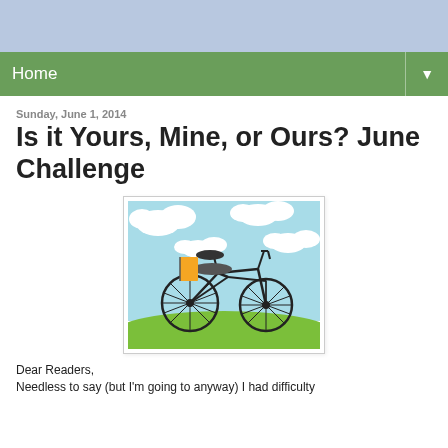Home ▼
Sunday, June 1, 2014
Is it Yours, Mine, or Ours? June Challenge
[Figure (illustration): Illustrated bicycle with an orange flag/book on a sunny day with clouds and green grass background]
Dear Readers,
Needless to say (but I'm going to anyway) I had difficulty